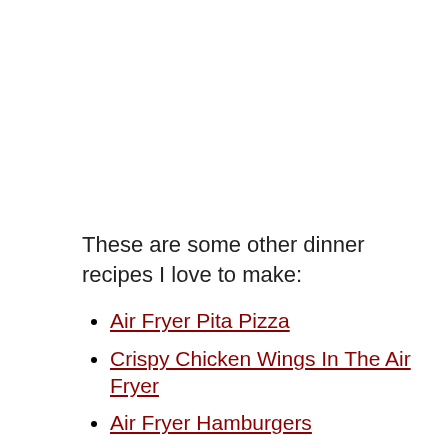These are some other dinner recipes I love to make:
Air Fryer Pita Pizza
Crispy Chicken Wings In The Air Fryer
Air Fryer Hamburgers
Juicy Chicken Legs In The Air Fryer
Air Fryer Frozen Shrimp